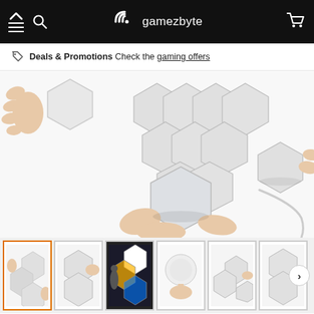gamezbyte — navigation bar with menu, search, logo, and cart icons
Deals & Promotions  Check the gaming offers
[Figure (photo): Product photo of modular hexagonal LED light panels being assembled by hands on a white background, with a cable visible]
[Figure (photo): Thumbnail 1 (active/selected): hands touching hexagonal LED panels]
[Figure (photo): Thumbnail 2: close-up of hexagonal LED panels]
[Figure (photo): Thumbnail 3: woman touching colorful hexagonal light panels]
[Figure (photo): Thumbnail 4: single round light held by hand]
[Figure (photo): Thumbnail 5: small cluster of hexagonal panels]
[Figure (photo): Thumbnail 6: hexagonal panels on wall]